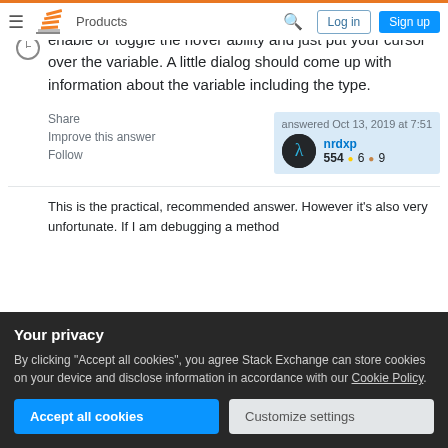≡  [Stack Overflow logo]  Products    🔍   Log in   Sign up
of your editor or ide. You can then simply permanently enable or toggle the hover ability and just put your cursor over the variable. A little dialog should come up with information about the variable including the type.
Share
Improve this answer
Follow
answered Oct 13, 2019 at 7:51
nrdxp
554  ● 6  ● 9
This is the practical, recommended answer. However it's also very unfortunate. If I am debugging a method
Your privacy
By clicking "Accept all cookies", you agree Stack Exchange can store cookies on your device and disclose information in accordance with our Cookie Policy.
[Accept all cookies]  [Customize settings]
This is simplified version of @Bri in this ...